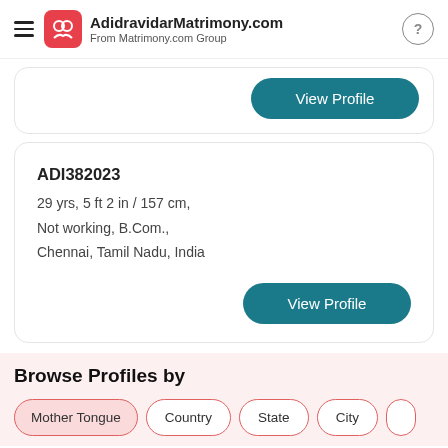AdidravidarMatrimony.com — From Matrimony.com Group
ADI382023
29 yrs, 5 ft 2 in / 157 cm,
Not working, B.Com.,
Chennai, Tamil Nadu, India
Browse Profiles by
Mother Tongue
Country
State
City
Tamil Matrimony | Kannada Matrimony | Telugu Matrimony | Hindi